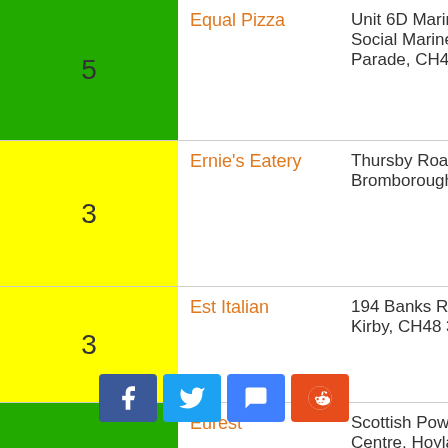| Score | Name | Address |
| --- | --- | --- |
| 5 | Equal Pizza | Unit 6D Marine Street Social Marine Point, Kings Parade, CH45 2PB |
| 3 | Ernie's Eatery | Thursby Road, Bromborough, CH62 3PW |
| 3 | Est Italian | 194 Banks Road, West Kirby, CH48 3HU |
| 5 | Eurest | Scottish Power Training Centre, Hoylake House, CH47 4AX |
| 1 | Europa Pools | Conway Street, Birkenhead, CH41 6RN |
| 5 | Everyones Cafe, Within Walled Garden | Within Walled Garden, Central Park, CH44 0BS |
| 5 | Fajita Cl... M... | ...Classic Mexican Bar and Grill M... CH4... |